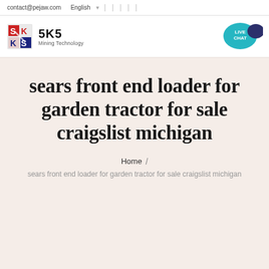contact@pejaw.com  English
[Figure (logo): SKS Mining Technology logo with red and blue diamond-S icon, text '5K5' and 'Mining Technology']
[Figure (illustration): Live Chat bubble icon in teal with dark blue chat icon]
sears front end loader for garden tractor for sale craigslist michigan
Home / sears front end loader for garden tractor for sale craigslist michigan